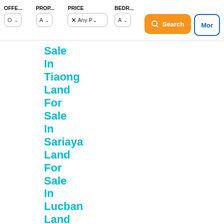OFFE... PROP... PRICE BEDR...
Sale
In
Tiaong
Land
For
Sale
In
Sariaya
Land
For
Sale
In
Lucban
Land
For